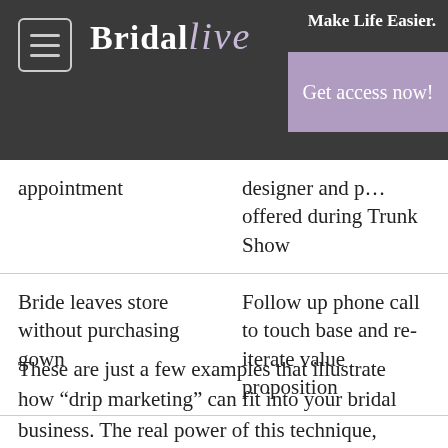BridalLive — Make Life Easier. Get access now!
| appointment | designer and [prices] offered during Trunk Show |
| Bride leaves store without purchasing gown | Follow up phone call to touch base and re-iterate value proposition |
These are just a few examples that illustrate how “drip marketing” can fit into your bridal business. The real power of this technique, once established, is it’s ability to be automated with technology.